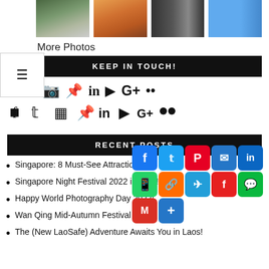[Figure (photo): Strip of four photos showing city/urban/nature scenes]
More Photos
[Figure (infographic): Hamburger menu icon inside a bordered box]
KEEP IN TOUCH!
[Figure (infographic): Social media icons: Facebook, Twitter, Instagram, Pinterest, LinkedIn, YouTube, Google+, Flickr]
RECENT POSTS
Singapore: 8 Must-See Attractions
Singapore Night Festival 2022 is back!
Happy World Photography Day 2022!
Wan Qing Mid-Autumn Festival 2022
The (New LaoSafe) Adventure Awaits You in Laos!
[Figure (infographic): Social share button overlay with Facebook, Twitter, Pinterest, Email, LinkedIn, WhatsApp, Copy, Telegram, Flipboard, WeChat, Gmail, More buttons]